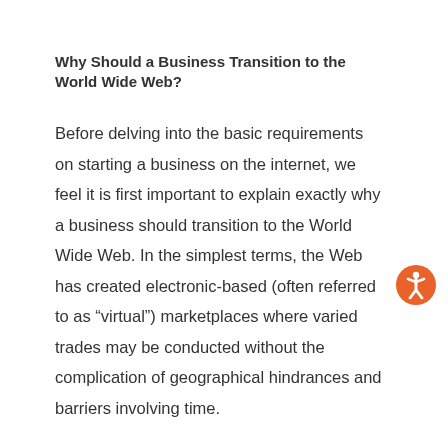Why Should a Business Transition to the World Wide Web?
Before delving into the basic requirements on starting a business on the internet, we feel it is first important to explain exactly why a business should transition to the World Wide Web. In the simplest terms, the Web has created electronic-based (often referred to as “virtual”) marketplaces where varied trades may be conducted without the complication of geographical hindrances and barriers involving time.